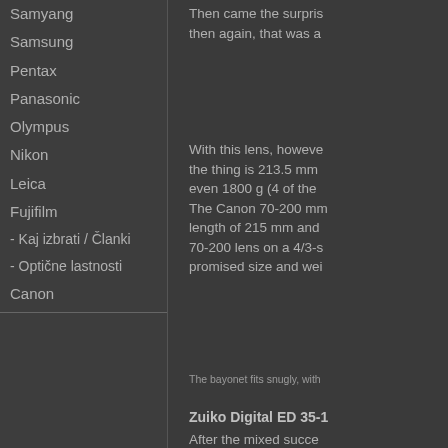Samyang
Samsung
Pentax
Panasonic
Olympus
Nikon
Leica
Fujifilm
- Kaj izbrati / Članki
- Optične lastnosti
Canon
Then came the surpis... then again, that was a...
With this lens, howeve... the thing is 213.5 mm ... even 1800 g (4 of the ... The Canon 70-200 mm... length of 215 mm and ... 70-200 lens on a 4/3-s... promised size and wei...
The bayonet fits snugly, with...
Zuiko Digital ED 35-1...
After the mixed succe...